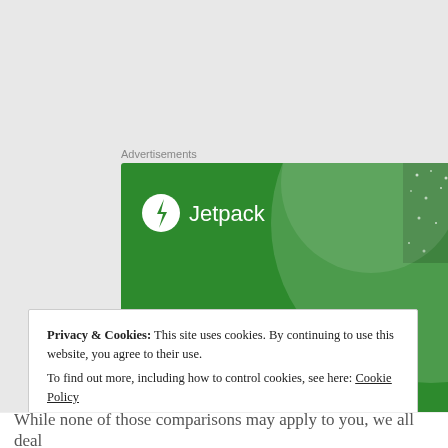Advertisements
[Figure (screenshot): Jetpack advertisement banner with green background showing 'The best real-time WordPress backup plugin' text and Jetpack logo with lightning bolt icon]
Privacy & Cookies: This site uses cookies. By continuing to use this website, you agree to their use.
To find out more, including how to control cookies, see here: Cookie Policy
Close and accept
While none of those comparisons may apply to you, we all deal